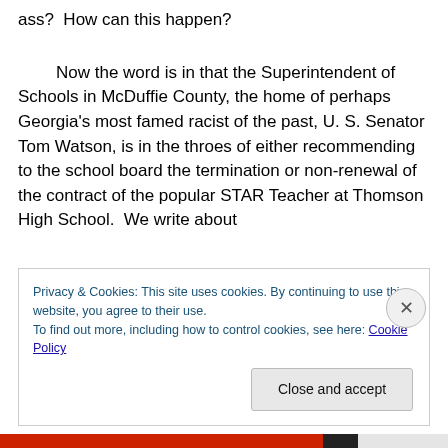ass?  How can this happen?
Now the word is in that the Superintendent of Schools in McDuffie County, the home of perhaps Georgia's most famed racist of the past, U. S. Senator Tom Watson, is in the throes of either recommending to the school board the termination or non-renewal of the contract of the popular STAR Teacher at Thomson High School.  We write about
Privacy & Cookies: This site uses cookies. By continuing to use this website, you agree to their use.
To find out more, including how to control cookies, see here: Cookie Policy
Close and accept